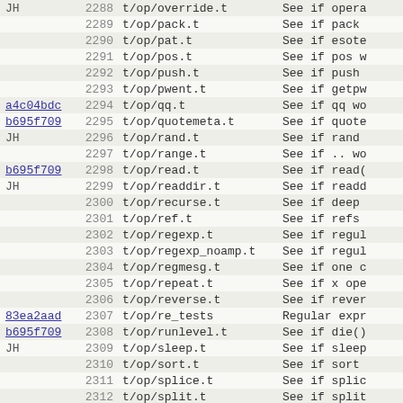| hash | num | file | description |
| --- | --- | --- | --- |
| JH | 2288 | t/op/override.t | See if opera |
|  | 2289 | t/op/pack.t | See if pack |
|  | 2290 | t/op/pat.t | See if esote |
|  | 2291 | t/op/pos.t | See if pos w |
|  | 2292 | t/op/push.t | See if push |
|  | 2293 | t/op/pwent.t | See if getpw |
| a4c04bdc | 2294 | t/op/qq.t | See if qq wo |
| b695f709 | 2295 | t/op/quotemeta.t | See if quote |
| JH | 2296 | t/op/rand.t | See if rand |
|  | 2297 | t/op/range.t | See if .. wo |
| b695f709 | 2298 | t/op/read.t | See if read( |
| JH | 2299 | t/op/readdir.t | See if readd |
|  | 2300 | t/op/recurse.t | See if deep |
|  | 2301 | t/op/ref.t | See if refs |
|  | 2302 | t/op/regexp.t | See if regul |
|  | 2303 | t/op/regexp_noamp.t | See if regul |
|  | 2304 | t/op/regmesg.t | See if one c |
|  | 2305 | t/op/repeat.t | See if x ope |
|  | 2306 | t/op/reverse.t | See if rever |
| 83ea2aad | 2307 | t/op/re_tests | Regular expr |
| b695f709 | 2308 | t/op/runlevel.t | See if die() |
| JH | 2309 | t/op/sleep.t | See if sleep |
|  | 2310 | t/op/sort.t | See if sort |
|  | 2311 | t/op/splice.t | See if splic |
|  | 2312 | t/op/split.t | See if split |
|  | 2313 | t/op/sprintf.t | See if sprin |
| 9be67dbc | 2314 | t/op/srand.t | See if srand |
| b695f709 | 2315 | t/op/stat.t | See if stat |
| JH | 2316 | t/op/study.t | See if study |
| b695f709 | 2317 | t/op/subst.t | See if subst |
| 83ea2aad | 2318 | t/op/substr.t | See if subst |
| b695f709 | 2319 | t/op/subst_amp.t | See if $&-re |
| JH | 2320 | t/op/subst_wamp.t | See if ... |